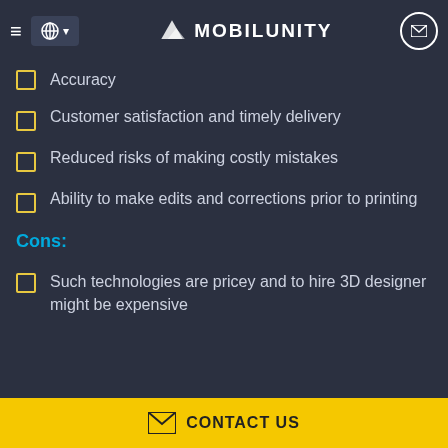MOBILUNITY
Accuracy
Customer satisfaction and timely delivery
Reduced risks of making costly mistakes
Ability to make edits and corrections prior to printing
Cons:
Such technologies are pricey and to hire 3D designer might be expensive
CONTACT US